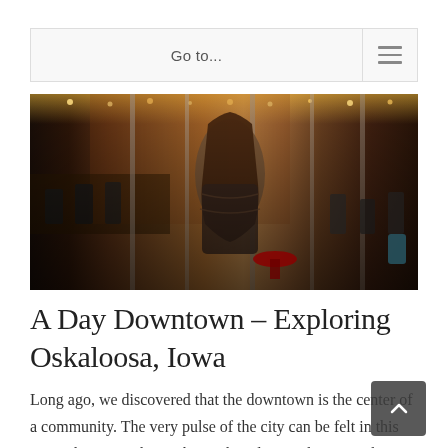Go to...
[Figure (photo): Interior of a bar or restaurant in Oskaloosa, Iowa. A person with long hair stands in the foreground with their back to the camera, wearing a patterned outfit. Bar stools, a bar counter, exposed brick walls, and string lights are visible in the background.]
A Day Downtown – Exploring Oskaloosa, Iowa
Long ago, we discovered that the downtown is the center of a community. The very pulse of the city can be felt in this area. The towns that embrace this idea are the ones where you will find a vibrant and thriving